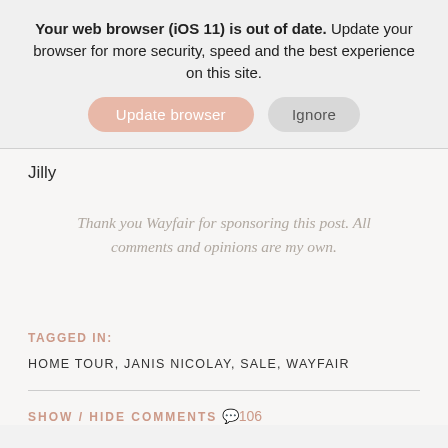Your web browser (iOS 11) is out of date. Update your browser for more security, speed and the best experience on this site.
Update browser | Ignore
Jilly
Thank you Wayfair for sponsoring this post. All comments and opinions are my own.
TAGGED IN:
HOME TOUR, JANIS NICOLAY, SALE, WAYFAIR
SHOW / HIDE COMMENTS 106